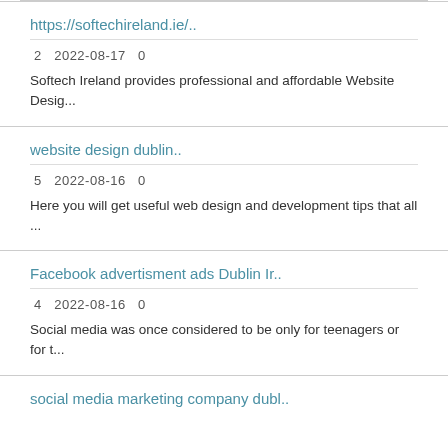https://softechireland.ie/..
2   2022-08-17   0
Softech Ireland provides professional and affordable Website Desig...
website design dublin..
5   2022-08-16   0
Here you will get useful web design and development tips that all ...
Facebook advertisment ads Dublin Ir..
4   2022-08-16   0
Social media was once considered to be only for teenagers or for t...
social media marketing company dubl..